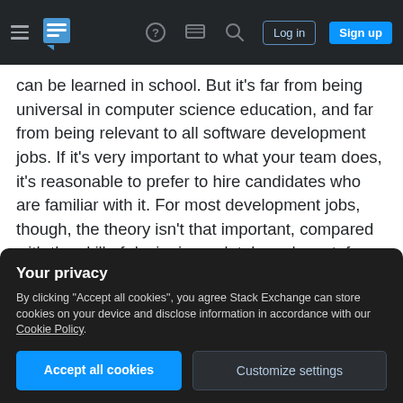Stack Exchange navigation bar with hamburger menu, logo, help icon, chat icon, search icon, Log in button, Sign up button
can be learned in school. But it's far from being universal in computer science education, and far from being relevant to all software development jobs. If it's very important to what your team does, it's reasonable to prefer to hire candidates who are familiar with it. For most development jobs, though, the theory isn't that important, compared with the skill of designing a database layout, for which the basics can come with experience, and being an expert is a job of its own.
In my non-representative experience, the nature of
involved is definitely a plus.) The only aspect of the
Your privacy
By clicking "Accept all cookies", you agree Stack Exchange can store cookies on your device and disclose information in accordance with our Cookie Policy.
Accept all cookies   Customize settings